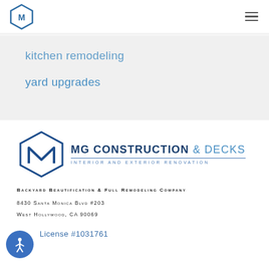[Figure (logo): Hexagon logo icon for MG Construction in top navigation bar]
kitchen remodeling
yard upgrades
[Figure (logo): MG Construction & Decks logo with hexagon icon, company name, and tagline INTERIOR AND EXTERIOR RENOVATION]
Backyard Beautification & Full Remodeling Company
8430 Santa Monica Blvd #203
West Hollywood, CA 90069
License #1031761